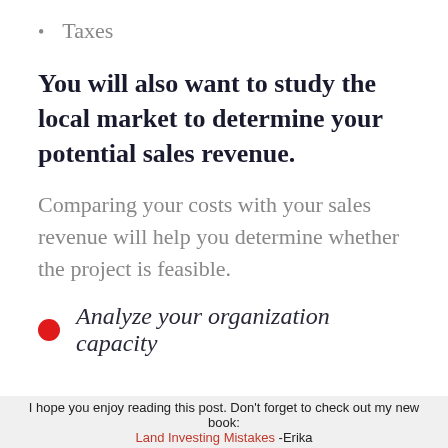Taxes
You will also want to study the local market to determine your potential sales revenue.
Comparing your costs with your sales revenue will help you determine whether the project is feasible.
Analyze your organization capacity
I hope you enjoy reading this post. Don't forget to check out my new book: Land Investing Mistakes -Erika